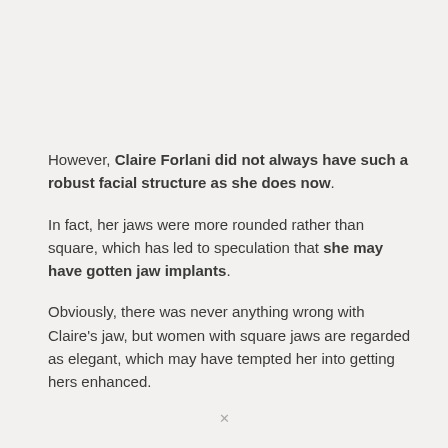However, Claire Forlani did not always have such a robust facial structure as she does now.
In fact, her jaws were more rounded rather than square, which has led to speculation that she may have gotten jaw implants.
Obviously, there was never anything wrong with Claire's jaw, but women with square jaws are regarded as elegant, which may have tempted her into getting hers enhanced.